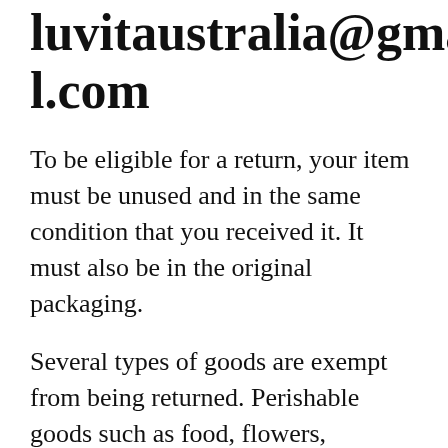luvitaustralia@gmail.com
To be eligible for a return, your item must be unused and in the same condition that you received it. It must also be in the original packaging.
Several types of goods are exempt from being returned. Perishable goods such as food, flowers, newspapers or magazines cannot be returned. We also do not accept products that are intimate